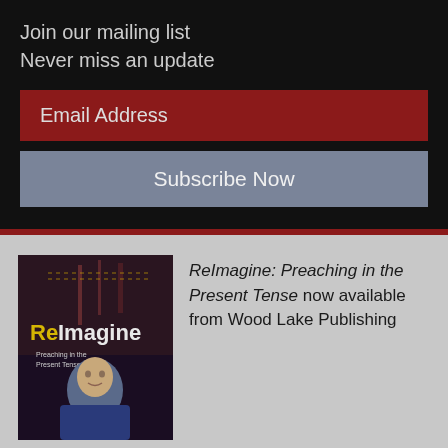Join our mailing list
Never miss an update
Email Address
Subscribe Now
[Figure (photo): Book cover of ReImagine: Preaching in the Present Tense, showing the title 'ReImagine' in yellow text and a man's photo on a dark background]
ReImagine: Preaching in the Present Tense now available from Wood Lake Publishing
Mark's books are available at amazon.ca and amazon.com
Related Posts